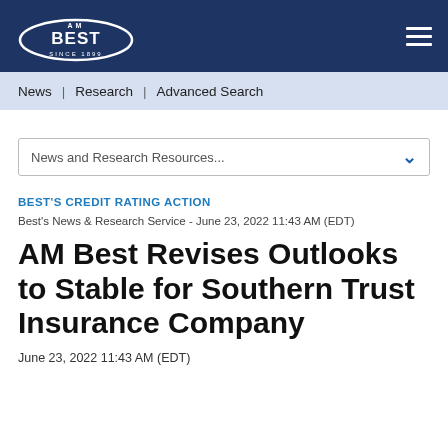AM Best Since 1899
News | Research | Advanced Search
News and Research Resources...
BEST'S CREDIT RATING ACTION
Best's News & Research Service - June 23, 2022 11:43 AM (EDT)
AM Best Revises Outlooks to Stable for Southern Trust Insurance Company
June 23, 2022 11:43 AM (EDT)